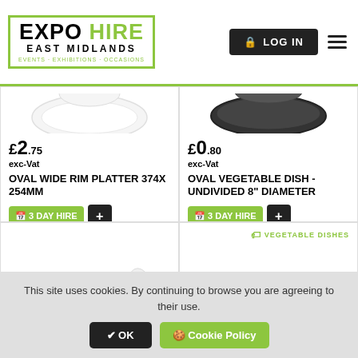EXPO HIRE EAST MIDLANDS | LOG IN
[Figure (photo): White oval wide rim platter partially visible at top]
£2.75 exc-Vat
OVAL WIDE RIM PLATTER 374X 254MM
3 DAY HIRE
[Figure (photo): Dark oval vegetable dish partially visible at top]
£0.80 exc-Vat
OVAL VEGETABLE DISH - UNDIVIDED 8" DIAMETER
3 DAY HIRE
[Figure (photo): White ceramic dish partially visible at bottom left]
[Figure (photo): Stainless steel divided vegetable dish with broccoli at bottom right]
VEGETABLE DISHES
This site uses cookies. By continuing to browse you are agreeing to their use.
OK
Cookie Policy